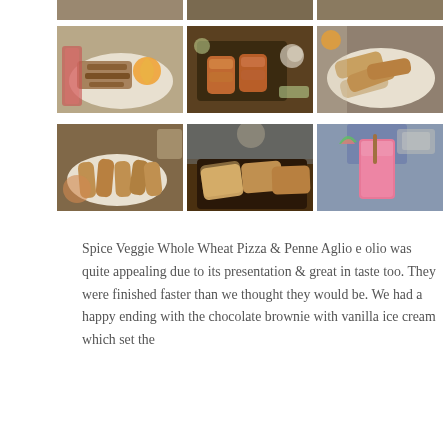[Figure (photo): Top partial row of three food photos, only bottoms visible]
[Figure (photo): Row of three food photos: grilled seafood/fish on white plate with orange slice, grilled chicken tikka on dark platter with lime, spring rolls on white plate]
[Figure (photo): Row of three food photos: fried vegetable fritters on white plate, garlic bread/bruschetta on dark platter, watermelon juice/smoothie in glass with watermelon slice]
Spice Veggie Whole Wheat Pizza & Penne Aglio e olio was quite appealing due to its presentation & great in taste too. They were finished faster than we thought they would be. We had a happy ending with the chocolate brownie with vanilla ice cream which set the